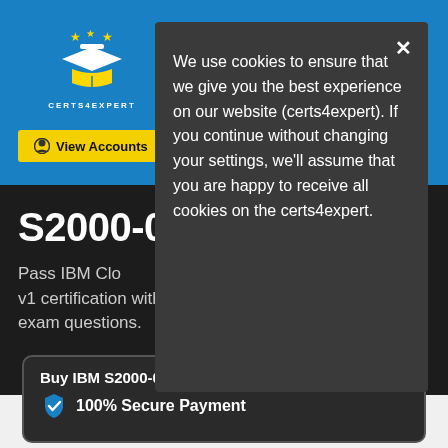[Figure (logo): Certs4Expert logo: graduation cap with stars on blue background, text CERTS4EXPERT]
View Accounts
S2000-0
Pass IBM Clo... v1 certification with updated exam questions.
We use cookies to ensure that we give you the best experience on our website (certs4expert). If you continue without changing your settings, we'll assume that you are happy to receive all cookies on the certs4expert.
Buy IBM S2000-012 Exam
100% Secure Payment